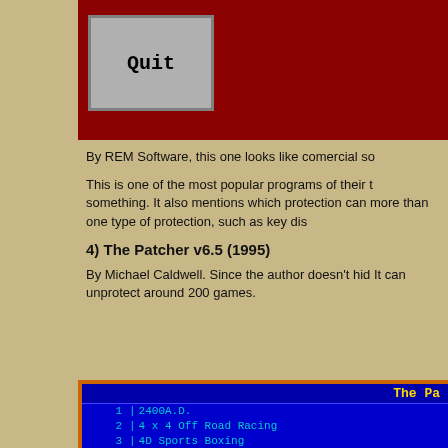[Figure (screenshot): Red background with a gray Quit button in the upper left area]
By REM Software, this one looks like comercial so
This is one of the most popular programs of their type. something. It also mentions which protection can more than one type of protection, such as key dis
4) The Patcher v6.5 (1995)
By Michael Caldwell. Since the author doesn't hid It can unprotect around 200 games.
[Figure (screenshot): Blue DOS-style interface showing The Patcher game list with entries numbered 1-9: 2400A.D., 4 x 4 Off Road Racing, 4D Sports Boxing, 4th & Inches, 688 Attack Sub, Advanced Flight Trainer, Alone in the Dark, An American Tail, Ancient Art of War]